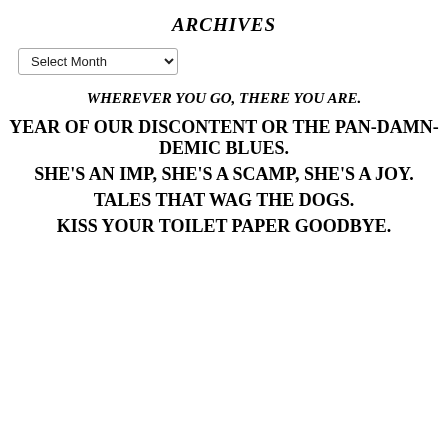ARCHIVES
Select Month
WHEREVER YOU GO, THERE YOU ARE.
YEAR OF OUR DISCONTENT OR THE PAN-DAMN-DEMIC BLUES.
SHE'S AN IMP, SHE'S A SCAMP, SHE'S A JOY.
TALES THAT WAG THE DOGS.
KISS YOUR TOILET PAPER GOODBYE.